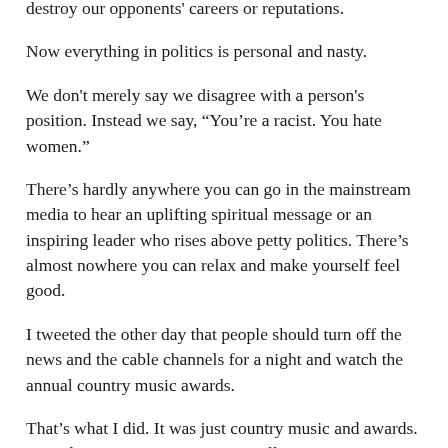destroy our opponents' careers or reputations.
Now everything in politics is personal and nasty.
We don't merely say we disagree with a person's position. Instead we say, “You’re a racist. You hate women.”
There’s hardly anywhere you can go in the mainstream media to hear an uplifting spiritual message or an inspiring leader who rises above petty politics. There’s almost nowhere you can relax and make yourself feel good.
I tweeted the other day that people should turn off the news and the cable channels for a night and watch the annual country music awards.
That’s what I did. It was just country music and awards. No politics. No anger. No name calling.
It was entertaining and pleasant — an oasis of civility in our angry world. It was something all of us could all use a lot more of.